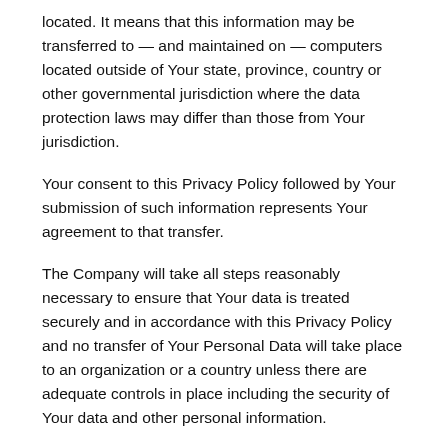located. It means that this information may be transferred to — and maintained on — computers located outside of Your state, province, country or other governmental jurisdiction where the data protection laws may differ than those from Your jurisdiction.
Your consent to this Privacy Policy followed by Your submission of such information represents Your agreement to that transfer.
The Company will take all steps reasonably necessary to ensure that Your data is treated securely and in accordance with this Privacy Policy and no transfer of Your Personal Data will take place to an organization or a country unless there are adequate controls in place including the security of Your data and other personal information.
DISCLOSURE OF YOUR PERSONAL DATA